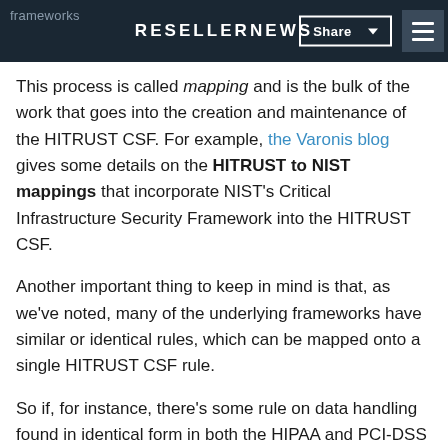frameworks - RESELLERNEWS - Share
This process is called mapping and is the bulk of the work that goes into the creation and maintenance of the HITRUST CSF. For example, the Varonis blog gives some details on the HITRUST to NIST mappings that incorporate NIST's Critical Infrastructure Security Framework into the HITRUST CSF.
Another important thing to keep in mind is that, as we've noted, many of the underlying frameworks have similar or identical rules, which can be mapped onto a single HITRUST CSF rule.
So if, for instance, there's some rule on data handling found in identical form in both the HIPAA and PCI-DSS requirements, a HITRUST-certified company could